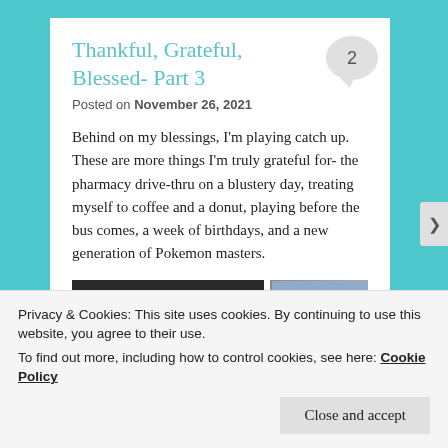Thankful, Grateful, Blessed- Part 3
Posted on November 26, 2021
Behind on my blessings, I'm playing catch up. These are more things I'm truly grateful for- the pharmacy drive-thru on a blustery day, treating myself to coffee and a donut, playing before the bus comes, a week of birthdays, and a new generation of Pokemon masters.
[Figure (photo): Two photos side by side: left shows a Dunkin Donuts bag, right shows a pharmacy drive-thru sign]
Privacy & Cookies: This site uses cookies. By continuing to use this website, you agree to their use.
To find out more, including how to control cookies, see here: Cookie Policy